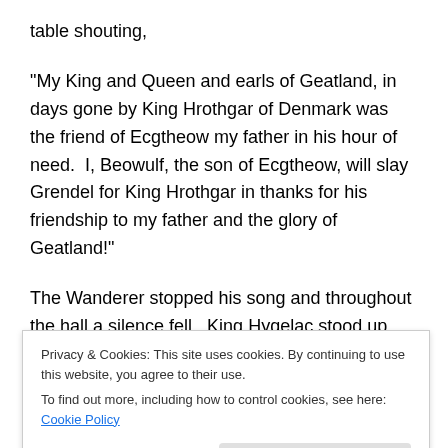table shouting,
“My King and Queen and earls of Geatland, in days gone by King Hrothgar of Denmark was the friend of Ecgtheow my father in his hour of need.  I, Beowulf, the son of Ecgtheow, will slay Grendel for King Hrothgar in thanks for his friendship to my father and the glory of Geatland!”
The Wanderer stopped his song and throughout the hall a silence fell.  King Hygelac stood up and commanded silence and turning to Beowulf said in a voice that all could hear,
Privacy & Cookies: This site uses cookies. By continuing to use this website, you agree to their use.
To find out more, including how to control cookies, see here: Cookie Policy
Hrothgar, our friend and neighbor has great need. So now